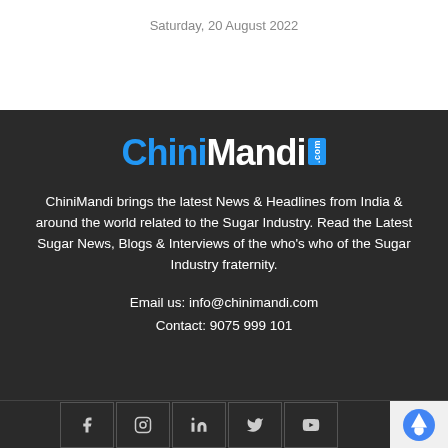Saturday, 20 August 2022
[Figure (logo): ChiniMandi.com logo — 'Chini' in blue, 'Mandi' in white, '.com' in a blue rectangle badge]
ChiniMandi brings the latest News & Headlines from India & around the world related to the Sugar Industry. Read the Latest Sugar News, Blogs & Interviews of the who's who of the Sugar Industry fraternity.
Email us: info@chinimandi.com
Contact: 9075 999 101
[Figure (other): Social media icons row: Facebook, Instagram, LinkedIn, Twitter, YouTube; and reCAPTCHA badge on the right]
Dashboard   Home   All News   Trend